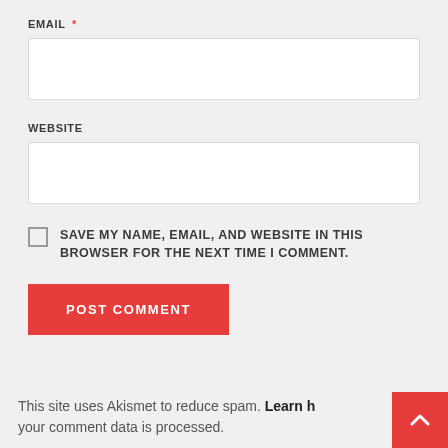EMAIL *
[Figure (other): Empty text input field for email]
WEBSITE
[Figure (other): Empty text input field for website]
SAVE MY NAME, EMAIL, AND WEBSITE IN THIS BROWSER FOR THE NEXT TIME I COMMENT.
[Figure (other): POST COMMENT button, red background with white uppercase text]
This site uses Akismet to reduce spam. Learn how your comment data is processed.